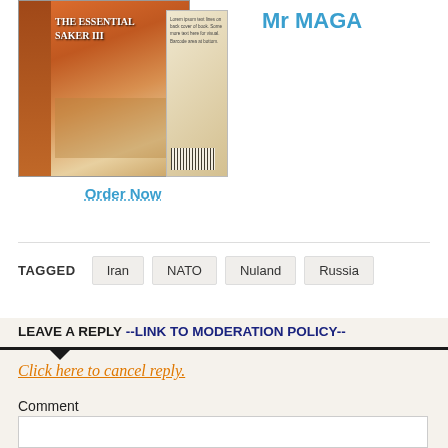[Figure (photo): Book cover of 'The Essential Saker III' with orange/sunset tones]
Order Now
Mr MAGA
TAGGED  Iran  NATO  Nuland  Russia
LEAVE A REPLY --LINK TO MODERATION POLICY--
Click here to cancel reply.
Comment